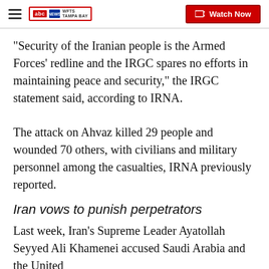WFTS Tampa Bay — Watch Now
"Security of the Iranian people is the Armed Forces' redline and the IRGC spares no efforts in maintaining peace and security," the IRGC statement said, according to IRNA.
The attack on Ahvaz killed 29 people and wounded 70 others, with civilians and military personnel among the casualties, IRNA previously reported.
Iran vows to punish perpetrators
Last week, Iran's Supreme Leader Ayatollah Seyyed Ali Khamenei accused Saudi Arabia and the United